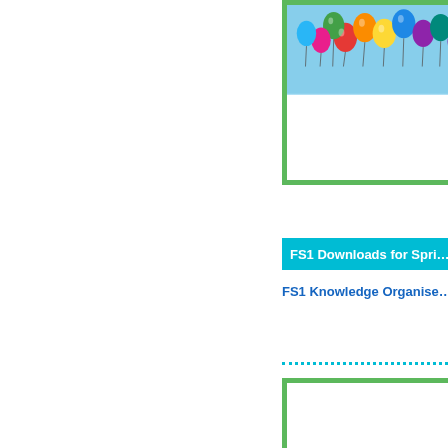[Figure (illustration): Card with colorful balloons on a light blue sky background, green border, white space below balloons]
FS1 Downloads for Spring
FS1 Knowledge Organiser
[Figure (illustration): Card with green border and white interior, partially visible at bottom of page]